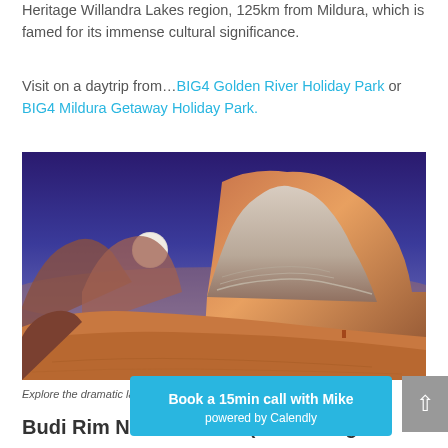Heritage Willandra Lakes region, 125km from Mildura, which is famed for its immense cultural significance.
Visit on a daytrip from…BIG4 Golden River Holiday Park or BIG4 Mildura Getaway Holiday Park.
[Figure (photo): Dramatic desert landscape at Mungo National Park showing large sandstone formations (Walls of China) under a blue twilight sky with a full moon rising. The foreground shows rust-orange and white striped eroded clay/sand formations.]
Explore the dramatic landscape around Mungo National Park
Budi Rim National Park (Mount Eagles...